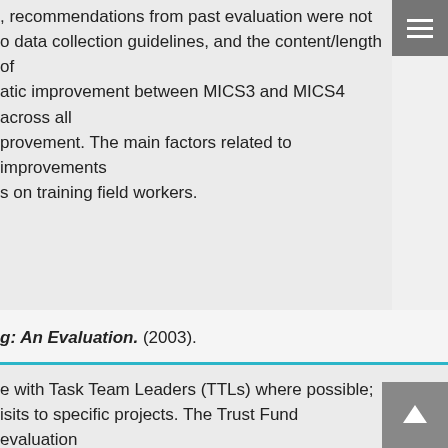, recommendations from past evaluation were not o data collection guidelines, and the content/length of atic improvement between MICS3 and MICS4 across all provement. The main factors related to improvements s on training field workers.
g: An Evaluation. (2003).
e with Task Team Leaders (TTLs) where possible; isits to specific projects. The Trust Fund evaluation d for funding by the Trust Fund, of which 27 were to